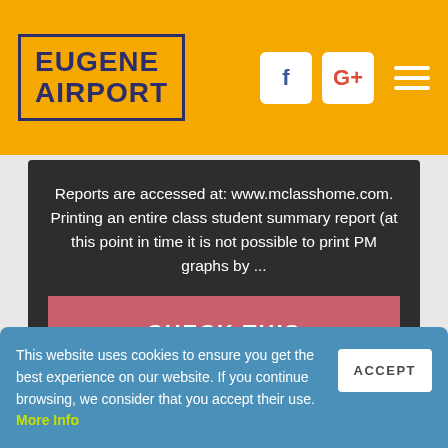EUGENE AIRPORT
Reports are accessed at: www.mclasshome.com. Printing an entire class student summary report (at this point in time it is not possible to print PM graphs by ...
CHECK THIS
This website uses cookies to ensure you get the best experience on our website. If you continue browsing, we consider that you accept their use. More Info
ACCEPT